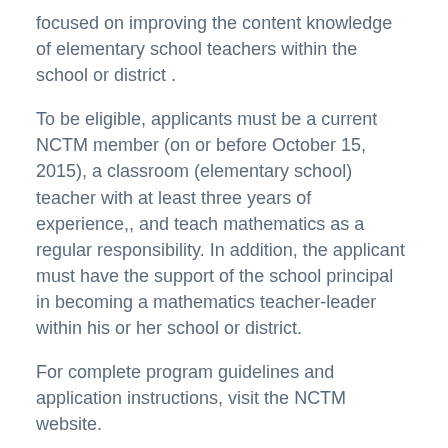focused on improving the content knowledge of elementary school teachers within the school or district .
To be eligible, applicants must be a current NCTM member (on or before October 15, 2015), a classroom (elementary school) teacher with at least three years of experience,, and teach mathematics as a regular responsibility. In addition, the applicant must have the support of the school principal in becoming a mathematics teacher-leader within his or her school or district.
For complete program guidelines and application instructions, visit the NCTM website.
DEADLINE: NOVEMBER 6, 2015
http://www.nctm.org/Grants-and-Awards/grants/Emerging-Teacher-Leaders-in-